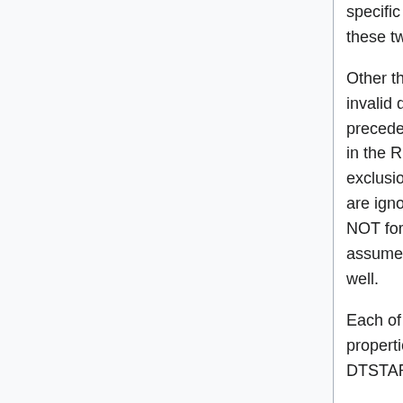specific property allows multiple values and in which of these two forms.
Other than that, it does not mention what to do ABOUT invalid data, or which of the multiple entries takes precedence. The only mention of duplicate instances is in the RRULE and EXDATE rules where events exclusions/inclusions overlap. Then duplicate instances are ignore. If it is explicitly written for those items, but NOT for things like DTSTART, then it is difficult to assume duplicate instances are ignored for them as well.
Each of the Components (VEVENT, ...) define which properties can exisit and in what quantity. So multiple DTSTART properties are NOT allowed. -- Brian Suda
Q: Should vCal entitles be represented